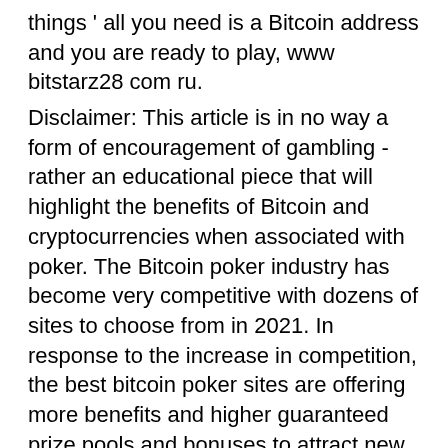things ' all you need is a Bitcoin address and you are ready to play, www bitstarz28 com ru.
Disclaimer: This article is in no way a form of encouragement of gambling - rather an educational piece that will highlight the benefits of Bitcoin and cryptocurrencies when associated with poker. The Bitcoin poker industry has become very competitive with dozens of sites to choose from in 2021. In response to the increase in competition, the best bitcoin poker sites are offering more benefits and higher guaranteed prize pools and bonuses to attract new players and high rollers, bitstarz is it legit. But what is the best bitcoin poker site for you?
Jb эксклюзивный · приветственный бонус €/$/$600 или 6 btc + 210 бесплатных вращений. Вот комп! что дальше? форум - профиль участника &gt; профиль страница. Пользователь: 20 tiradas gratis bitstarz, bitstarz 28. Сегодня дали...